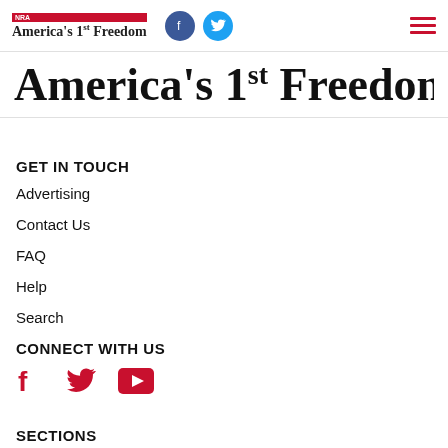NRA America's 1st Freedom
America's 1st Freedom
GET IN TOUCH
Advertising
Contact Us
FAQ
Help
Search
CONNECT WITH US
[Figure (infographic): Three social media icons in red: Facebook (f), Twitter (bird), YouTube (play button)]
SECTIONS
Armed Citizen
Columns
Features